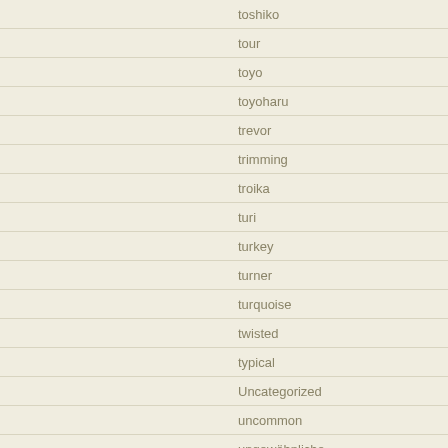toshiko
tour
toyo
toyoharu
trevor
trimming
troika
turi
turkey
turner
turquoise
twisted
typical
Uncategorized
uncommon
ungewöhnliche